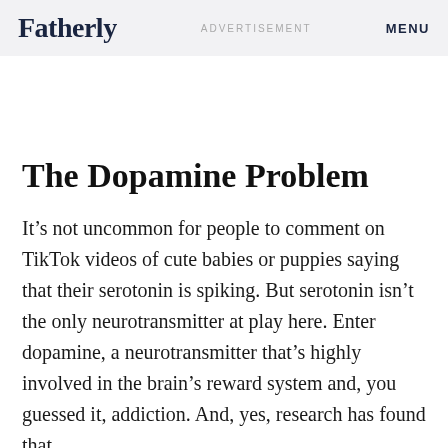Fatherly   ADVERTISEMENT   MENU
The Dopamine Problem
It’s not uncommon for people to comment on TikTok videos of cute babies or puppies saying that their serotonin is spiking. But serotonin isn’t the only neurotransmitter at play here. Enter dopamine, a neurotransmitter that’s highly involved in the brain’s reward system and, you guessed it, addiction. And, yes, research has found that